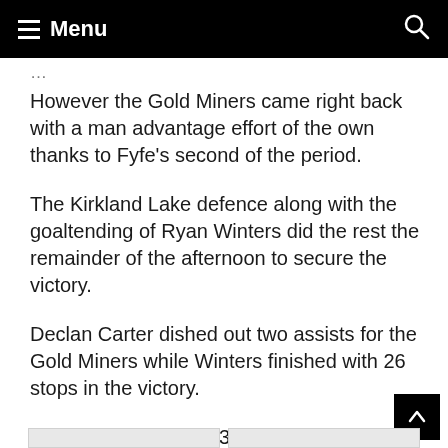Menu
However the Gold Miners came right back with a man advantage effort of the own thanks to Fyfe's second of the period.
The Kirkland Lake defence along with the goaltending of Ryan Winters did the rest the remainder of the afternoon to secure the victory.
Declan Carter dished out two assists for the Gold Miners while Winters finished with 26 stops in the victory.
Matty Mayhew faced 35 shots in defeat for the Canadians.
Photos courtesy of CapturingTheMoment.ca